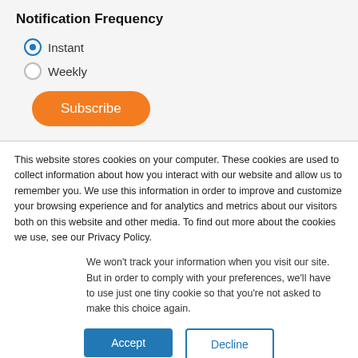Notification Frequency
Instant (selected)
Weekly
Subscribe
This website stores cookies on your computer. These cookies are used to collect information about how you interact with our website and allow us to remember you. We use this information in order to improve and customize your browsing experience and for analytics and metrics about our visitors both on this website and other media. To find out more about the cookies we use, see our Privacy Policy.
We won't track your information when you visit our site. But in order to comply with your preferences, we'll have to use just one tiny cookie so that you're not asked to make this choice again.
Accept
Decline